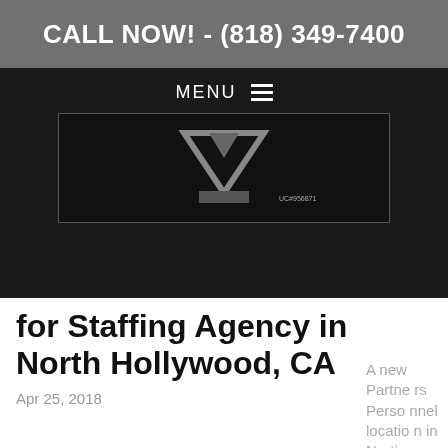CALL NOW! - (818) 349-7400
[Figure (screenshot): Navigation bar with MENU and hamburger icon, and a dark logo/image area showing a stylized arrow/chevron logo with license number UC#956871]
for Staffing Agency in North Hollywood, CA
Apr 25, 2018
A new Partners Personnel location in North